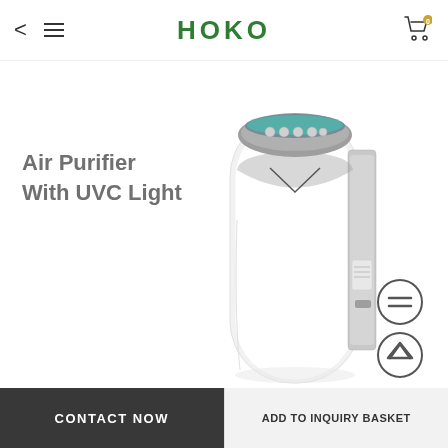HOKO
Air Purifier With UVC Light
[Figure (photo): Air purifier product image - a tall white tower-style air purifier with UVC light, grey accent panel on top with teal LED indicator and control buttons, shown from a front-angle view on white background]
CONTACT NOW | ADD TO INQUIRY BASKET